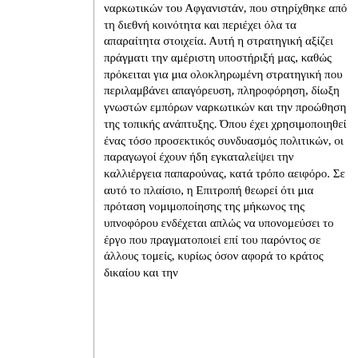ναρκωτικών του Αφγανιστάν, που στηρίχθηκε από τη διεθνή κοινότητα και περιέχει όλα τα απαραίτητα στοιχεία. Αυτή η στρατηγική αξίζει πράγματι την αμέριστη υποστήριξή μας, καθώς πρόκειται για μια ολοκληρωμένη στρατηγική που περιλαμβάνει απαγόρευση, πληροφόρηση, δίωξη γνωστών εμπόρων ναρκωτικών και την προώθηση της τοπικής ανάπτυξης. Όπου έχει χρησιμοποιηθεί ένας τόσο προσεκτικός συνδυασμός πολιτικών, οι παραγωγοί έχουν ήδη εγκαταλείψει την καλλιέργεια παπαρούνας, κατά τρόπο αειφόρο. Σε αυτό το πλαίσιο, η Επιτροπή θεωρεί ότι μια πρόταση νομιμοποίησης της μήκωνος της υπνοφόρου ενδέχεται απλώς να υπονομεύσει το έργο που πραγματοποιεί επί του παρόντος σε άλλους τομείς, κυρίως όσον αφορά το κράτος δικαίου και την